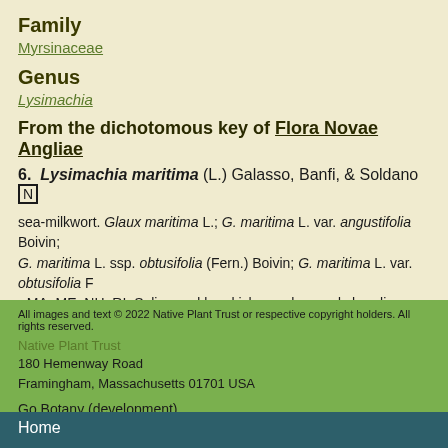Family
Myrsinaceae
Genus
Lysimachia
From the dichotomous key of Flora Novae Angliae
6. Lysimachia maritima (L.) Galasso, Banfi, & Soldano [N]
sea-milkwort. Glaux maritima L.; G. maritima L. var. angustifolia Boivin; G. maritima L. ssp. obtusifolia (Fern.) Boivin; G. maritima L. var. obtusifolia F • MA, ME, NH, RI. Saline and brackish marshes and shorelines.
All images and text © 2022 Native Plant Trust or respective copyright holders. All rights reserved.
Native Plant Trust
180 Hemenway Road
Framingham, Massachusetts 01701 USA
Go Botany (development)
Home